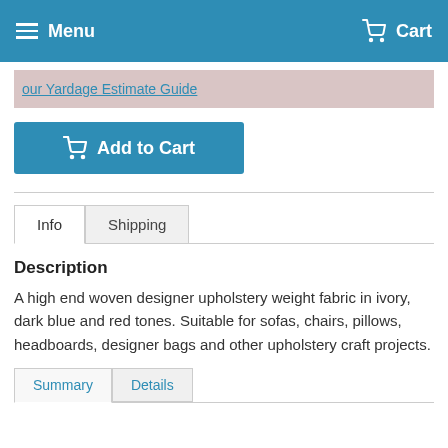Menu  Cart
our Yardage Estimate Guide
Add to Cart
Info  Shipping
Description
A high end woven designer upholstery weight fabric in ivory, dark blue and red tones. Suitable for sofas, chairs, pillows, headboards, designer bags and other upholstery craft projects.
Summary  Details